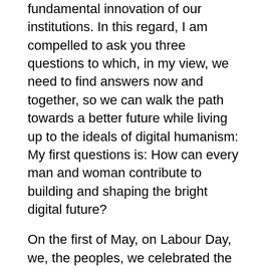fundamental innovation of our institutions. In this regard, I am compelled to ask you three questions to which, in my view, we need to find answers now and together, so we can walk the path towards a better future while living up to the ideals of digital humanism: My first questions is: How can every man and woman contribute to building and shaping the bright digital future?
On the first of May, on Labour Day, we, the peoples, we celebrated the values of work around the world. However, it is coming… Automation and artificial intelligence are going to replace jobs, not just manual jobs but also white-collar ones. Professions such as accountants, auditors and clerks are also among the most vulnerable. According to ecomoy woman meeting OECD estimates, Slovakia has one of the highest share of jobs at risk of automation. It is not even a secret that almost half of the tasks employees are paid for in developed economies could be automated by already existing technologies.